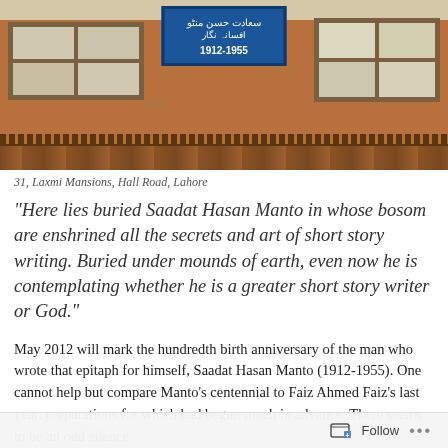[Figure (photo): Photograph of a brick building facade with windows and a blue plaque/sign in Urdu script showing '1912-1955', located at 31, Laxmi Mansions, Hall Road, Lahore]
31, Laxmi Mansions, Hall Road, Lahore
“Here lies buried Saadat Hasan Manto in whose bosom are enshrined all the secrets and art of short story writing. Buried under mounds of earth, even now he is contemplating whether he is a greater short story writer or God.”
May 2012 will mark the hundredth birth anniversary of the man who wrote that epitaph for himself, Saadat Hasan Manto (1912-1955). One cannot help but compare Manto’s centennial to Faiz Ahmed Faiz’s last year, preparations for which had begun much in advance. There seems to be an odd silence
Follow …